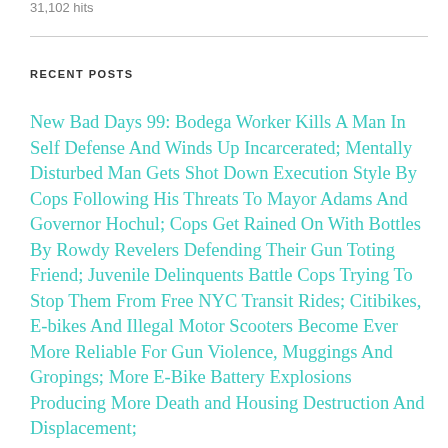31,102 hits
RECENT POSTS
New Bad Days 99: Bodega Worker Kills A Man In Self Defense And Winds Up Incarcerated; Mentally Disturbed Man Gets Shot Down Execution Style By Cops Following His Threats To Mayor Adams And Governor Hochul; Cops Get Rained On With Bottles By Rowdy Revelers Defending Their Gun Toting Friend; Juvenile Delinquents Battle Cops Trying To Stop Them From Free NYC Transit Rides; Citibikes, E-bikes And Illegal Motor Scooters Become Ever More Reliable For Gun Violence, Muggings And Gropings; More E-Bike Battery Explosions Producing More Death and Housing Destruction And Displacement;